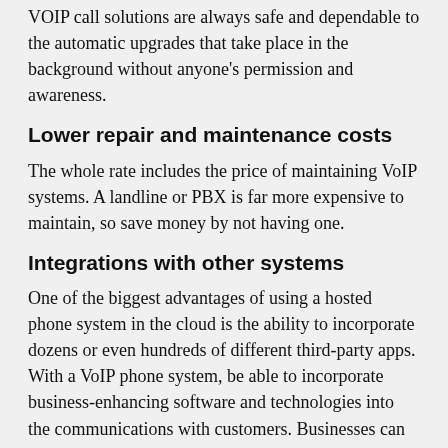VOIP call solutions are always safe and dependable to the automatic upgrades that take place in the background without anyone's permission and awareness.
Lower repair and maintenance costs
The whole rate includes the price of maintaining VoIP systems. A landline or PBX is far more expensive to maintain, so save money by not having one.
Integrations with other systems
One of the biggest advantages of using a hosted phone system in the cloud is the ability to incorporate dozens or even hundreds of different third-party apps. With a VoIP phone system, be able to incorporate business-enhancing software and technologies into the communications with customers. Businesses can give their customers the best service possible by using VITEL GLOBAL quick and easy integration of CRM, Live chat, eCommerce